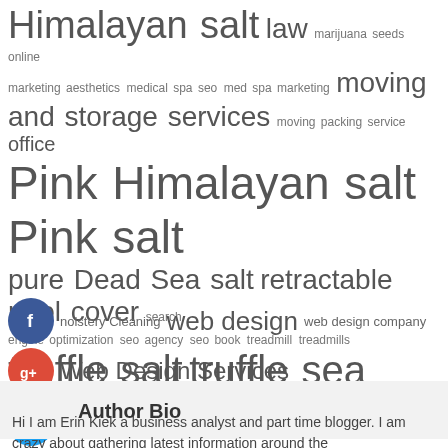[Figure (other): Tag cloud with various keyword tags in different font sizes including Himalayan salt, law, marijuana seeds online, marketing aesthetics, medical spa seo, med spa marketing, moving and storage services, moving packing service, office, Pink Himalayan salt, Pink salt, pure Dead Sea salt, retractable pool cover, search engine optimization, seo agency, seo book, treadmill, treadmills, truffle salt, truffle sea salt, upholstery Cleaning, web design, web design company, Web Design Services]
[Figure (other): Social media icon buttons: Facebook (blue circle with f), Google+ (red circle with g+), Twitter (blue circle with bird), and a dark plus button]
Author Bio
Hi I am Erin Kiek a business analyst and part time blogger. I am crazy about gathering latest information around the